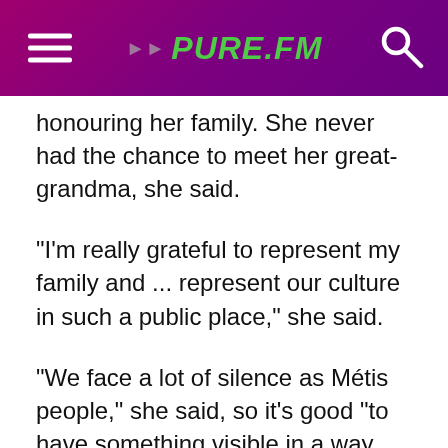PURE.FM
honouring her family. She never had the chance to meet her great-grandma, she said.
“I’m really grateful to represent my family and ... represent our culture in such a public place,” she said.
“We face a lot of silence as Métis people,” she said, so it’s good “to have something visible in a way that’s not loud but just kind of there ... a presence.”